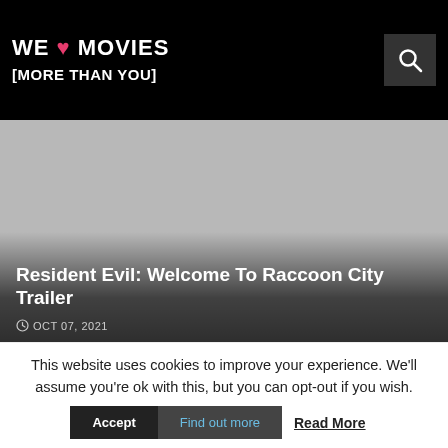WE ❤ MOVIES [MORE THAN YOU]
[Figure (photo): Gray placeholder hero image for Resident Evil: Welcome To Raccoon City Trailer article]
Resident Evil: Welcome To Raccoon City Trailer
OCT 07, 2021
This website uses cookies to improve your experience. We'll assume you're ok with this, but you can opt-out if you wish.
Accept | Find out more | Read More